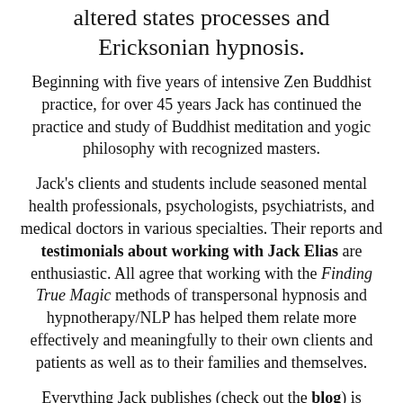altered states processes and Ericksonian hypnosis.
Beginning with five years of intensive Zen Buddhist practice, for over 45 years Jack has continued the practice and study of Buddhist meditation and yogic philosophy with recognized masters.
Jack's clients and students include seasoned mental health professionals, psychologists, psychiatrists, and medical doctors in various specialties. Their reports and testimonials about working with Jack Elias are enthusiastic. All agree that working with the Finding True Magic methods of transpersonal hypnosis and hypnotherapy/NLP has helped them relate more effectively and meaningfully to their own clients and patients as well as to their families and themselves.
Everything Jack publishes (check out the blog) is